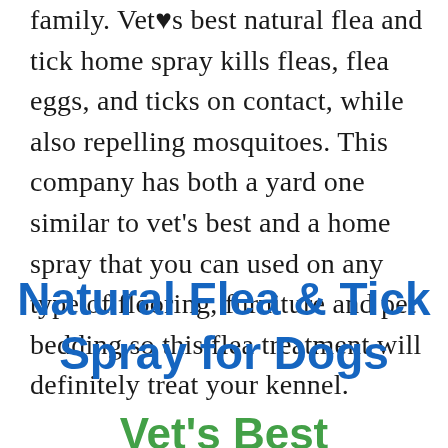family. Vet's best natural flea and tick home spray kills fleas, flea eggs, and ticks on contact, while also repelling mosquitoes. This company has both a yard one similar to vet's best and a home spray that you can used on any type of flooring, furniture and pet bedding so this flea treatment will definitely treat your kennel.
Natural Flea & Tick Spray for Dogs
Vet's Best